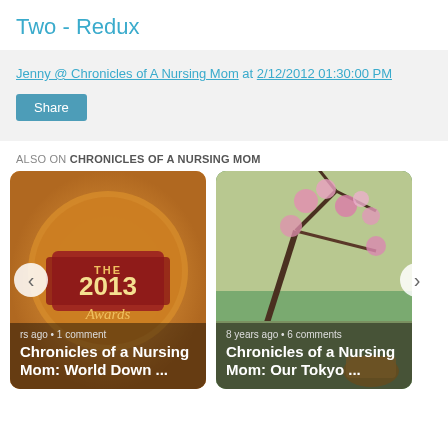Two - Redux
Jenny @ Chronicles of A Nursing Mom at 2/12/2012 01:30:00 PM
Share
ALSO ON CHRONICLES OF A NURSING MOM
[Figure (photo): Award badge image for 2013 with text 'THE 2013 Awards' overlaid. Card shows 'rs ago • 1 comment' and title 'Chronicles of a Nursing Mom: World Down ...']
[Figure (photo): Photo of cherry blossom branches. Card shows '8 years ago • 6 comments' and title 'Chronicles of a Nursing Mom: Our Tokyo ...']